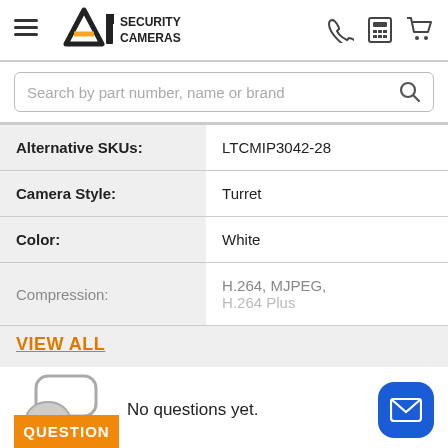[Figure (logo): A1 Security Cameras logo with hamburger menu icon and header icons (phone, calculator, cart)]
[Figure (screenshot): Search bar with placeholder text 'Search by part number, name or brand' and a magnifying glass icon]
| Alternative SKUs: | LTCMIP3042-28 |
| Camera Style: | Turret |
| Color: | White |
| Compression: | H.264, MJPEG, H.264 Plus |
VIEW ALL
[Figure (illustration): Two speech bubble icons suggesting Q&A or chat]
No questions yet.
[Figure (illustration): Blue rounded square mail/envelope icon button]
QUESTION